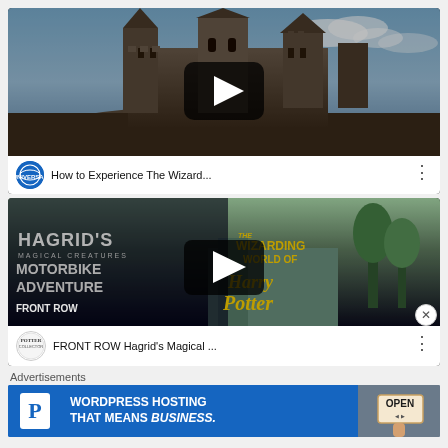[Figure (screenshot): YouTube video thumbnail: Universal Studios 'How to Experience The Wizard...' video showing Hogwarts castle with play button overlay]
[Figure (screenshot): YouTube video thumbnail: Potter Collector 'FRONT ROW Hagrid's Magical...' video showing Hagrid's Motorbike Adventure and Wizarding World of Harry Potter with play button overlay]
Advertisements
[Figure (infographic): Advertisement banner: Pressable WordPress Hosting - 'WORDPRESS HOSTING THAT MEANS BUSINESS.' with P logo and OPEN sign photo]